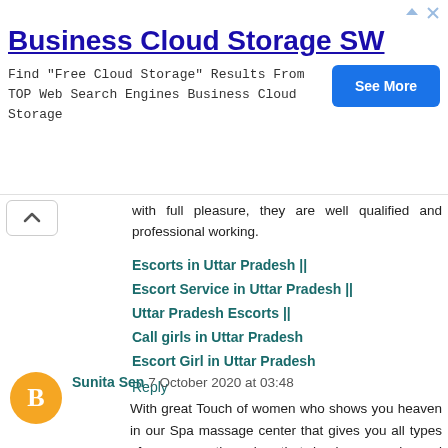[Figure (screenshot): Advertisement banner for Business Cloud Storage SW with a See More button]
with full pleasure, they are well qualified and professional working.
Escorts in Uttar Pradesh ||
Escort Service in Uttar Pradesh ||
Uttar Pradesh Escorts ||
Call girls in Uttar Pradesh
Escort Girl in Uttar Pradesh
Reply
Sunita Sen  7 October 2020 at 03:48
With great Touch of women who shows you heaven in our Spa massage center that gives you all types of massage therapies that heal your pain and reduces Stress. Be relaxed in Busy life click the link massage in bangaloro